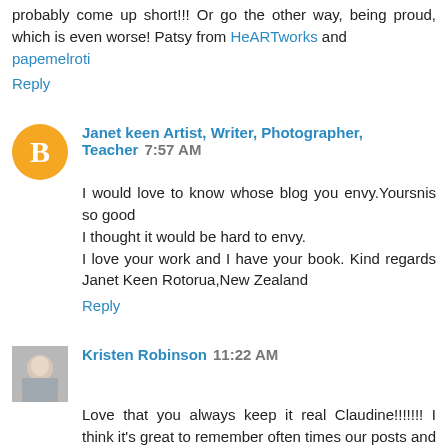probably come up short!!! Or go the other way, being proud, which is even worse! Patsy from HeARTworks and papemelroti
Reply
Janet keen Artist, Writer, Photographer, Teacher 7:57 AM
I would love to know whose blog you envy.Yoursnis so good
I thought it would be hard to envy.
I love your work and I have your book. Kind regards Janet Keen Rotorua,New Zealand
Reply
Kristen Robinson 11:22 AM
Love that you always keep it real Claudine!!!!!!! I think it's great to remember often times our posts and those we read are thought out, constructed, and photographed to be